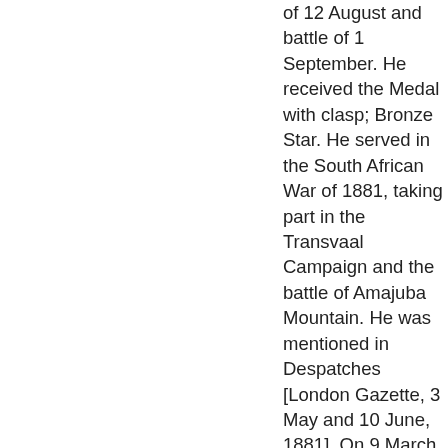of 12 August and battle of 1 September. He received the Medal with clasp; Bronze Star. He served in the South African War of 1881, taking part in the Transvaal Campaign and the battle of Amajuba Mountain. He was mentioned in Despatches [London Gazette, 3 May and 10 June, 1881]. On 9 March, 1886, he was promoted to Captain. He was Adjutant